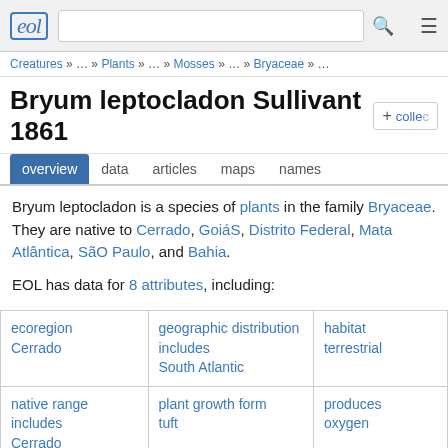EOL - Encyclopedia of Life header with search bar
Creatures » … » Plants » … » Mosses » … » Bryaceae » …
Bryum leptocladon Sullivant 1861
overview  data  articles  maps  names
Bryum leptocladon is a species of plants in the family Bryaceae. They are native to Cerrado, GoiáS, Distrito Federal, Mata Atlântica, SãO Paulo, and Bahia.
EOL has data for 8 attributes, including:
| ecoregion
Cerrado | geographic distribution includes
South Atlantic | habitat
terrestrial |
| native range includes
Cerrado | plant growth form
tuft | produces
oxygen |
| trophic guild
photoautotroph | type specimen repository
(NY) - (NY) |  |